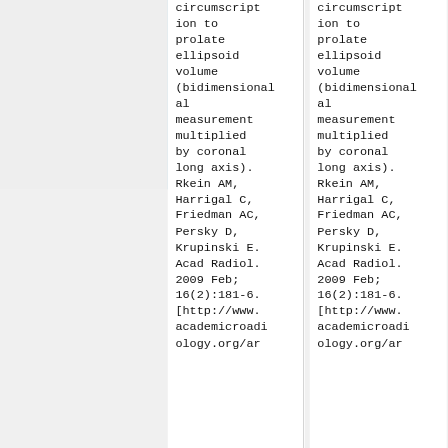|  | circumscription to prolate ellipsoid volume (bidimensional measurement multiplied by coronal long axis). Rkein AM, Harrigal C, Friedman AC, Persky D, Krupinski E. Acad Radiol. 2009 Feb; 16(2):181-6. [http://www.academicradiology.org/ar | circumscription to prolate ellipsoid volume (bidimensional measurement multiplied by coronal long axis). Rkein AM, Harrigal C, Friedman AC, Persky D, Krupinski E. Acad Radiol. 2009 Feb; 16(2):181-6. [http://www.academicradiology.org/ar |